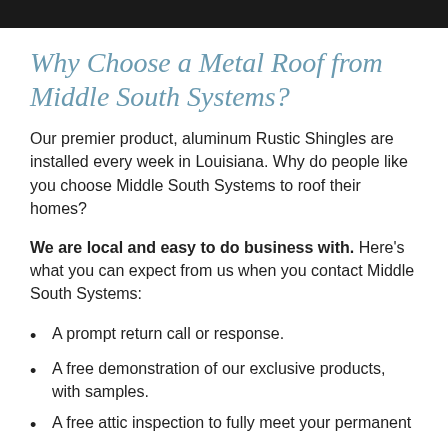[Figure (photo): Dark/black banner image at the top of the page]
Why Choose a Metal Roof from Middle South Systems?
Our premier product, aluminum Rustic Shingles are installed every week in Louisiana. Why do people like you choose Middle South Systems to roof their homes?
We are local and easy to do business with. Here’s what you can expect from us when you contact Middle South Systems:
A prompt return call or response.
A free demonstration of our exclusive products, with samples.
A free attic inspection to fully meet your permanent